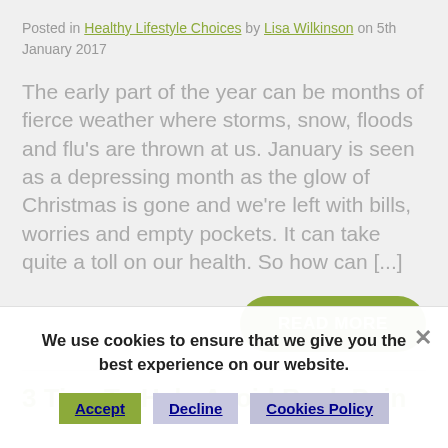Posted in Healthy Lifestyle Choices by Lisa Wilkinson on 5th January 2017
The early part of the year can be months of fierce weather where storms, snow, floods and flu's are thrown at us. January is seen as a depressing month as the glow of Christmas is gone and we're left with bills, worries and empty pockets. It can take quite a toll on our health. So how can [...]
READ MORE
3 Tips To Help Avoid Back Pain
We use cookies to ensure that we give you the best experience on our website.
Accept
Decline
Cookies Policy